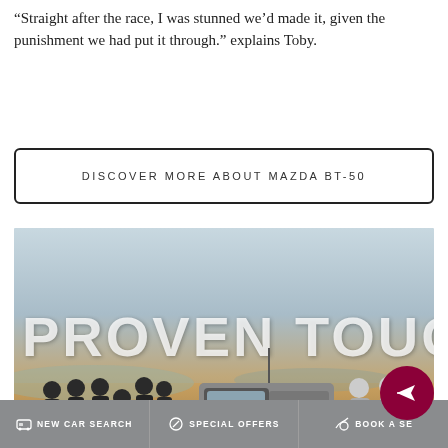“Straight after the race, I was stunned we’d made it, given the punishment we had put it through.” explains Toby.
DISCOVER MORE ABOUT MAZDA BT-50
[Figure (photo): A Mazda BT-50 pickup truck with rally livery parked on red/orange dirt. A group of about 8 people in black team clothing stand on the left, and two people in grey racing suits hold helmets on the right. Large white text overlay reads 'PROVEN TOUGH'.]
NEW CAR SEARCH | SPECIAL OFFERS | BOOK A SERVICE